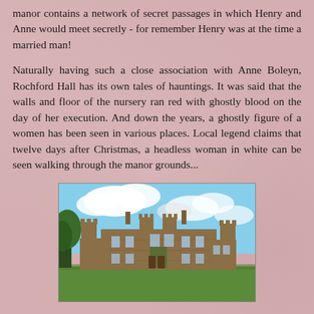manor contains a network of secret passages in which Henry and Anne would meet secretly - for remember Henry was at the time a married man!
Naturally having such a close association with Anne Boleyn, Rochford Hall has its own tales of hauntings. It was said that the walls and floor of the nursery ran red with ghostly blood on the day of her execution. And down the years, a ghostly figure of a women has been seen in various places. Local legend claims that twelve days after Christmas, a headless woman in white can be seen walking through the manor grounds...
[Figure (photo): Photograph of Rochford Hall, a historic Tudor manor house with multiple turrets and chimneys, brick facade with ivy, large windows, green lawn in foreground, trees to the left, blue sky with clouds above.]